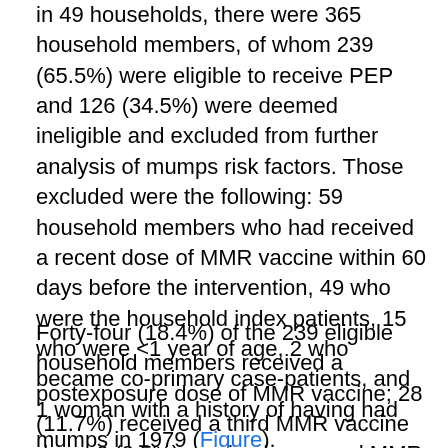in 49 households, there were 365 household members, of whom 239 (65.5%) were eligible to receive PEP and 126 (34.5%) were deemed ineligible and excluded from further analysis of mumps risk factors. Those excluded were the following: 59 household members who had received a recent dose of MMR vaccine within 60 days before the intervention, 49 who were the household index patients, 15 who were <1 year of age, 2 who became co-primary case-patients, and 1 woman with a history of having had mumps in 1979 (Figure).
Forty-four (18.4%) of the 239 eligible household members received a postexposure dose of MMR vaccine; 28 (11.7%) received a third MMR vaccine dose, 6 (2.5%) received a second MMR vaccine dose, 2 (0.8%) received a first MMR vaccine dose, and 8 (3.3%) adults with unknown vaccination status received a dose. The age groups of household